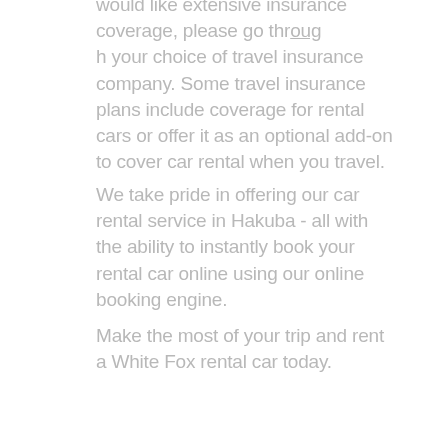would like extensive insurance coverage, please go through your choice of travel insurance company. Some travel insurance plans include coverage for rental cars or offer it as an optional add-on to cover car rental when you travel.
We take pride in offering our car rental service in Hakuba - all with the ability to instantly book your rental car online using our online booking engine.
Make the most of your trip and rent a White Fox rental car today.